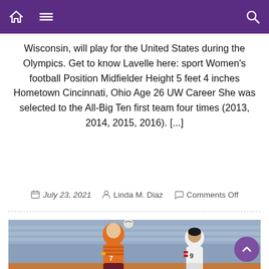Navigation bar with home, menu, and search icons
Wisconsin, will play for the United States during the Olympics. Get to know Lavelle here: sport Women's football Position Midfielder Height 5 feet 4 inches Hometown Cincinnati, Ohio Age 26 UW Career She was selected to the All-Big Ten first team four times (2013, 2014, 2015, 2016). [...]
July 23, 2021   Linda M. Diaz   Comments Off
[Figure (photo): Two female soccer players during a match. Player in orange striped jersey with number 7 heading a ball, player in white jersey with number 9 nearby. Stadium seating visible in background.]